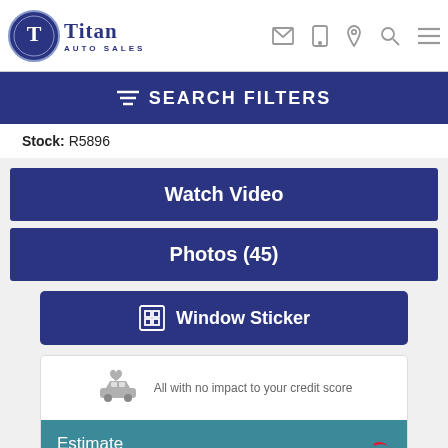Titan Auto Sales
SEARCH FILTERS
Stock: R5896
Watch Video
Photos (45)
Window Sticker
All with no impact to your credit score
Estimate financing
[Figure (logo): AutoCheck logo with checkmark]
[Figure (logo): Capital One logo]